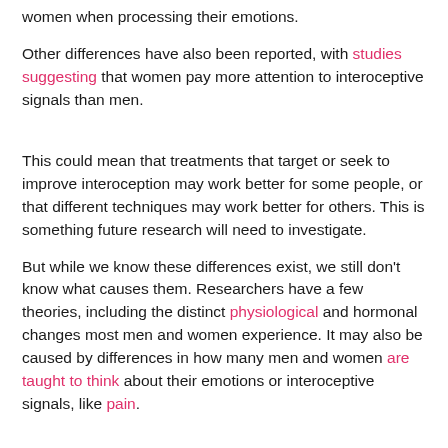women when processing their emotions.
Other differences have also been reported, with studies suggesting that women pay more attention to interoceptive signals than men.
This could mean that treatments that target or seek to improve interoception may work better for some people, or that different techniques may work better for others. This is something future research will need to investigate.
But while we know these differences exist, we still don't know what causes them. Researchers have a few theories, including the distinct physiological and hormonal changes most men and women experience. It may also be caused by differences in how many men and women are taught to think about their emotions or interoceptive signals, like pain.